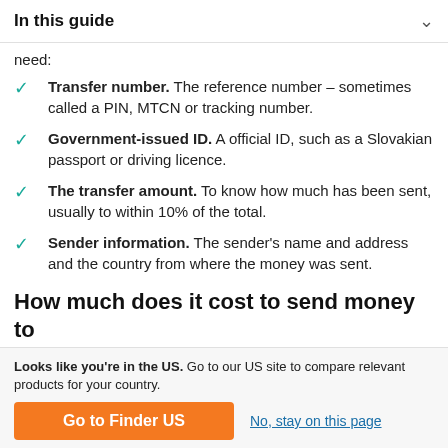In this guide
need:
Transfer number. The reference number – sometimes called a PIN, MTCN or tracking number.
Government-issued ID. A official ID, such as a Slovakian passport or driving licence.
The transfer amount. To know how much has been sent, usually to within 10% of the total.
Sender information. The sender's name and address and the country from where the money was sent.
How much does it cost to send money to Slovakia from the UK?
Looks like you're in the US. Go to our US site to compare relevant products for your country.
Go to Finder US
No, stay on this page